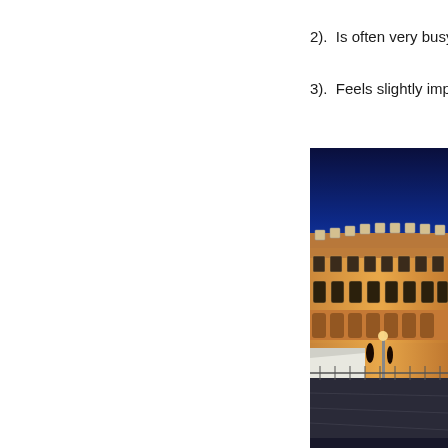2).  Is often very busy
3).  Feels slightly imper
[Figure (photo): Nighttime photograph of a large neoclassical building illuminated with warm golden lights against a deep blue twilight sky. The building has multiple stories with arched windows and dormer windows along the roofline.]